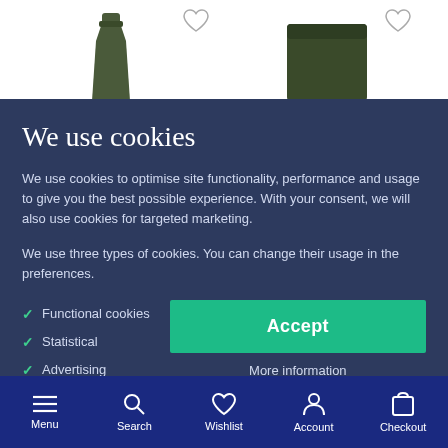[Figure (screenshot): Product listing screenshot showing two dark green items (a bottle and a cylinder/vase) with heart wishlist icons above each, on a white background.]
We use cookies
We use cookies to optimise site functionality, performance and usage to give you the best possible experience. With your consent, we will also use cookies for targeted marketing.
We use three types of cookies. You can change their usage in the preferences.
Functional cookies
Statistical
Advertising
Accept
More information
Menu   Search   Wishlist   Account   Checkout